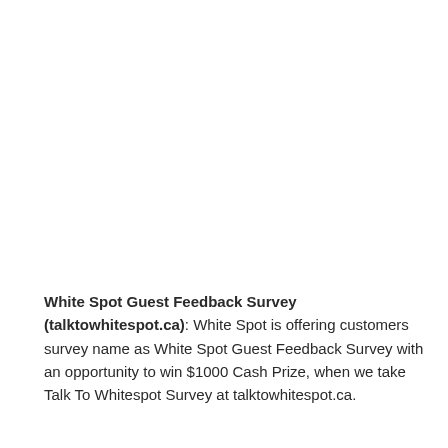White Spot Guest Feedback Survey (talktowhitespot.ca): White Spot is offering customers survey name as White Spot Guest Feedback Survey with an opportunity to win $1000 Cash Prize, when we take Talk To Whitespot Survey at talktowhitespot.ca.